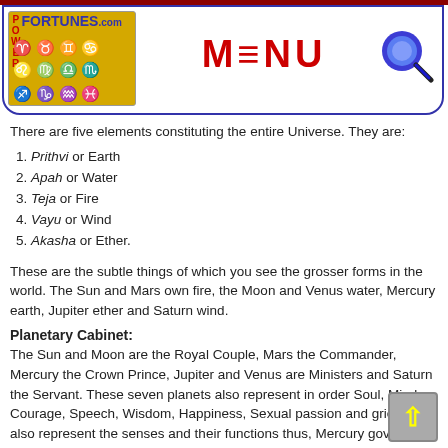POWER FORTUNES .com | MENU
There are five elements constituting the entire Universe. They are:
1. Prithvi or Earth
2. Apah or Water
3. Teja or Fire
4. Vayu or Wind
5. Akasha or Ether.
These are the subtle things of which you see the grosser forms in the world. The Sun and Mars own fire, the Moon and Venus water, Mercury earth, Jupiter ether and Saturn wind.
Planetary Cabinet:
The Sun and Moon are the Royal Couple, Mars the Commander, Mercury the Crown Prince, Jupiter and Venus are Ministers and Saturn the Servant. These seven planets also represent in order Soul, Mind, Courage, Speech, Wisdom, Happiness, Sexual passion and grief. They also represent the senses and their functions thus, Mercury governs smell (nose), the Moon and Venus the taste (tongue), the Sun and Mars form (eye) Jupiter sound (ear) and Saturn, Rahu and Ketu touch (skin).
Planetary Aspects:
The planets have four kinds of aspects. The mode of looking at the 3rd and